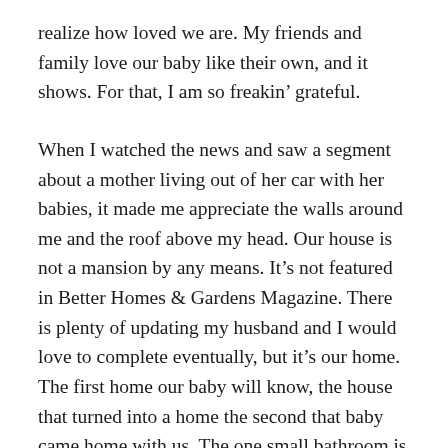realize how loved we are. My friends and family love our baby like their own, and it shows. For that, I am so freakin’ grateful.
When I watched the news and saw a segment about a mother living out of her car with her babies, it made me appreciate the walls around me and the roof above my head. Our house is not a mansion by any means. It’s not featured in Better Homes & Gardens Magazine. There is plenty of updating my husband and I would love to complete eventually, but it’s our home. The first home our baby will know, the house that turned into a home the second that baby came home with us. The one small bathroom is the one I found out I was pregnant in. The same bathroom that has become “Bubbie’s Spa” during our